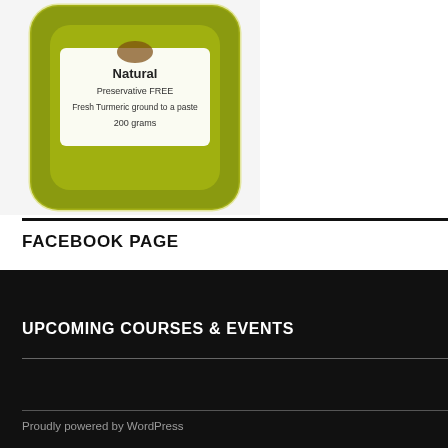[Figure (photo): Product photo of a turmeric paste package showing label with text: Natural, Preservative FREE, Fresh Turmeric ground to a paste, 200 grams. Package has olive/yellow-green color with a white label.]
FACEBOOK PAGE
UPCOMING COURSES & EVENTS
Proudly powered by WordPress